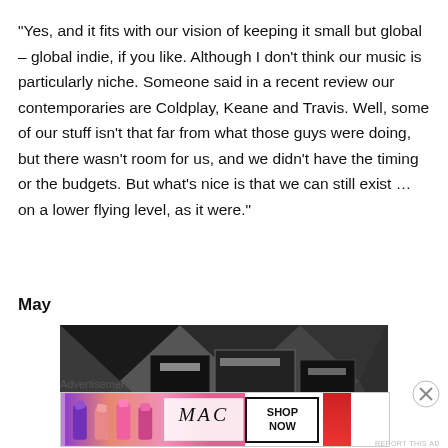“Yes, and it fits with our vision of keeping it small but global – global indie, if you like. Although I don’t think our music is particularly niche. Someone said in a recent review our contemporaries are Coldplay, Keane and Travis. Well, some of our stuff isn’t that far from what those guys were doing, but there wasn’t room for us, and we didn’t have the timing or the budgets. But what’s nice is that we can still exist … on a lower flying level, as it were.”
May
[Figure (photo): Black and white photo of what appears to be audio/music equipment or cases on a surface]
Advertisements
[Figure (photo): MAC cosmetics advertisement showing colorful lipsticks with MAC logo and SHOP NOW button]